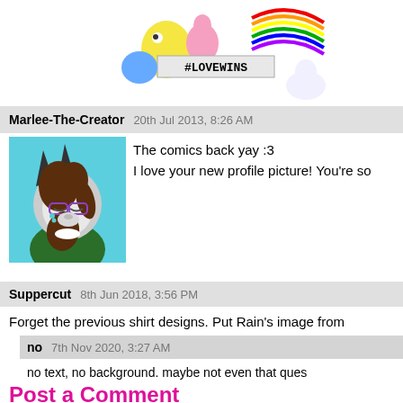[Figure (illustration): Top banner with cartoon characters and #LOVEWINS text banner]
Marlee-The-Creator   20th Jul 2013, 8:26 AM
[Figure (illustration): Anime-style furry character with brown hair, glasses, on cyan background]
The comics back yay :3
I love your new profile picture! You're so
Suppercut   8th Jun 2018, 3:56 PM
Forget the previous shirt designs. Put Rain's image from
no   7th Nov 2020, 3:27 AM
no text, no background. maybe not even that ques
Post a Comment
© 2004 - 2022 Jocelyn Samara D.
RSS | Comic Profile | ComicFury | Top